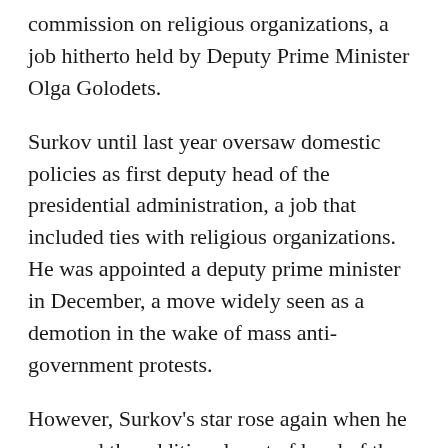commission on religious organizations, a job hitherto held by Deputy Prime Minister Olga Golodets.
Surkov until last year oversaw domestic policies as first deputy head of the presidential administration, a job that included ties with religious organizations. He was appointed a deputy prime minister in December, a move widely seen as a demotion in the wake of mass anti-government protests.
However, Surkov's star rose again when he assumed the additional post of head of the White House administration in May. In early August, he was given the portfolio for religious affairs — but not the commission chairmanship.